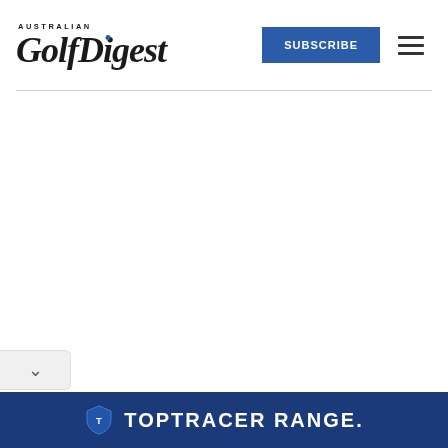[Figure (logo): Australian Golf Digest logo with 'AUSTRALIAN' in small caps above 'GolfDigest' in large bold italic serif font, with a blue dot above the 'i' in Digest]
[Figure (other): SUBSCRIBE button in blue rectangle]
[Figure (other): Hamburger menu icon (three horizontal lines)]
[Figure (other): Chevron/down arrow button on left side]
[Figure (other): TOPTRACER RANGE advertisement banner at bottom with shield logo on dark blue background]